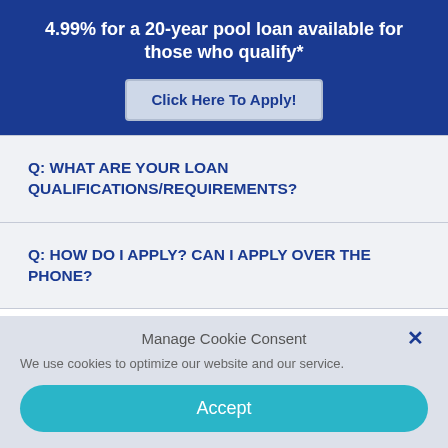4.99% for a 20-year pool loan available for those who qualify*
Click Here To Apply!
Q: WHAT ARE YOUR LOAN QUALIFICATIONS/REQUIREMENTS?
Q: HOW DO I APPLY? CAN I APPLY OVER THE PHONE?
Manage Cookie Consent
We use cookies to optimize our website and our service.
Accept